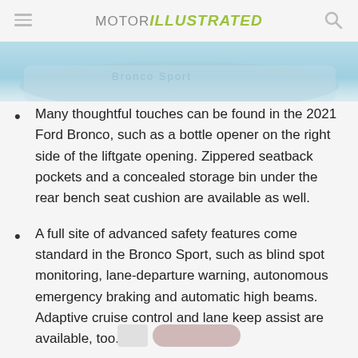MOTOR ILLUSTRATED
[Figure (photo): Partial view of a car exterior, blue/teal color, cropped image strip at top of page]
Many thoughtful touches can be found in the 2021 Ford Bronco, such as a bottle opener on the right side of the liftgate opening. Zippered seatback pockets and a concealed storage bin under the rear bench seat cushion are available as well.
A full site of advanced safety features come standard in the Bronco Sport, such as blind spot monitoring, lane-departure warning, autonomous emergency braking and automatic high beams. Adaptive cruise control and lane keep assist are available, too.